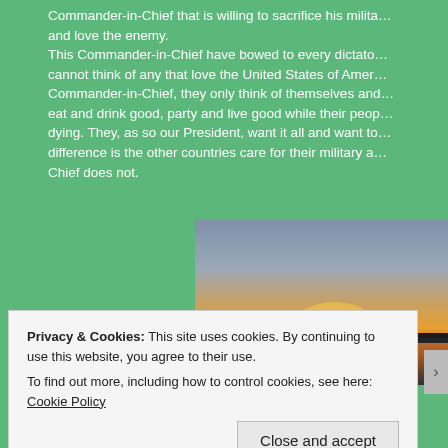Commander-in-Chief that is willing to sacrifice his military and love the enemy. This Commander-in-Chief have bowed to every dictator, cannot think of any that love the United States of America. Commander-in-Chief, they only think of themselves and eat and drink good, party and live good while their people dying. They, as so our President, want it all and want to difference is the other countries care for their military and Chief does not.
[Figure (photo): A sunset over water with orange and yellow sun near the horizon, dark silhouette of land in foreground, gradient sky from blue-gray to orange]
Privacy & Cookies: This site uses cookies. By continuing to use this website, you agree to their use. To find out more, including how to control cookies, see here: Cookie Policy
Close and accept